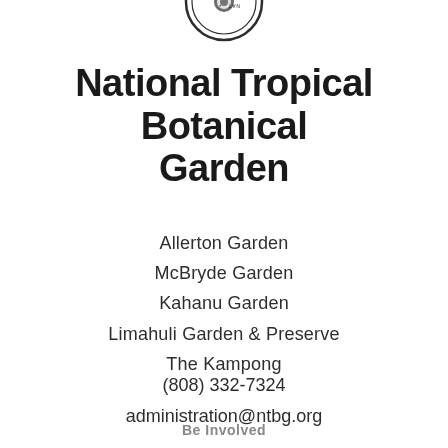[Figure (logo): National Tropical Botanical Garden circular logo/seal shown partially at top, upside down]
National Tropical Botanical Garden
Allerton Garden
McBryde Garden
Kahanu Garden
Limahuli Garden & Preserve
The Kampong
(808) 332-7324
administration@ntbg.org
Be Involved